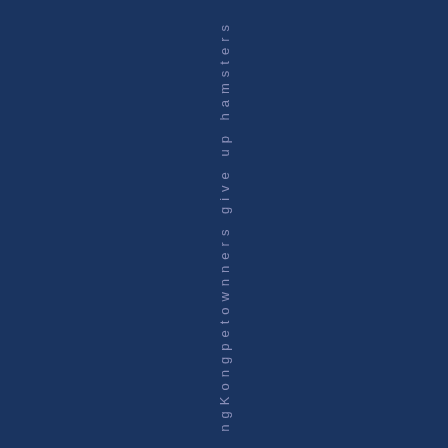ngKongpetownners give up hamsters